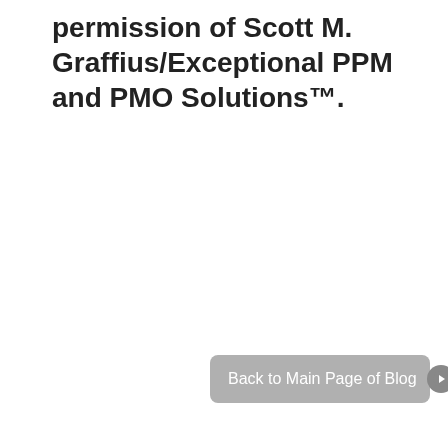permission of Scott M. Graffius/Exceptional PPM and PMO Solutions™.
[Figure (other): A gray rounded-rectangle button labeled 'Back to Main Page of Blog' with a circular arrow icon on the right.]